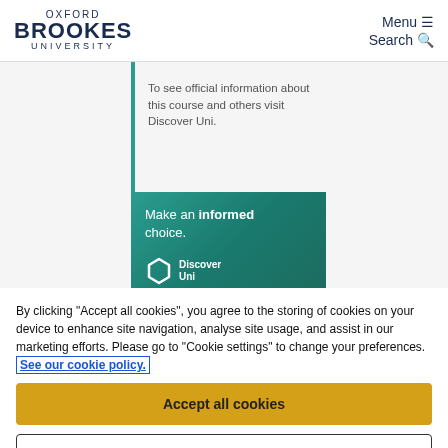[Figure (logo): Oxford Brookes University logo with text: OXFORD BROOKES UNIVERSITY]
Menu ☰
Search 🔍
To see official information about this course and others visit Discover Uni.
[Figure (illustration): Green Discover Uni banner with text: Make an informed choice. Discover Uni logo (hexagon icon).]
By clicking "Accept all cookies", you agree to the storing of cookies on your device to enhance site navigation, analyse site usage, and assist in our marketing efforts. Please go to "Cookie settings" to change your preferences. See our cookie policy.
Accept all cookies
Cookie settings